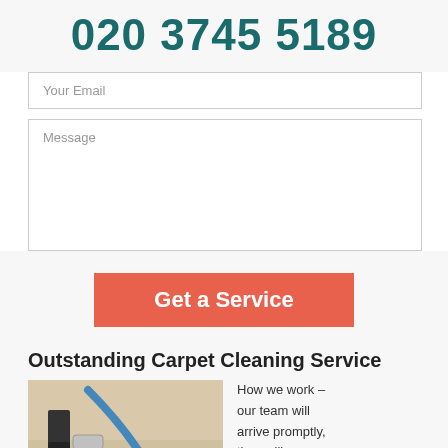020 3745 5189
Your Email
Message
Get a Service
Outstanding Carpet Cleaning Service
[Figure (photo): Carpet cleaning equipment being used on a light-colored carpet, showing a hose and cleaning machine head on the carpet surface.]
How we work – our team will arrive promptly, they will remove